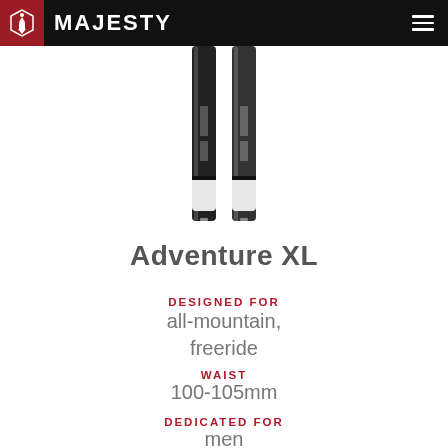MAJESTY
[Figure (photo): Two dark/black ski planks (Majesty Adventure XL skis) shown vertically, partially cropped at top, with black and white coloring visible at tips]
Adventure XL
DESIGNED FOR
all-mountain, freeride
WAIST
100-105mm
DEDICATED FOR
men